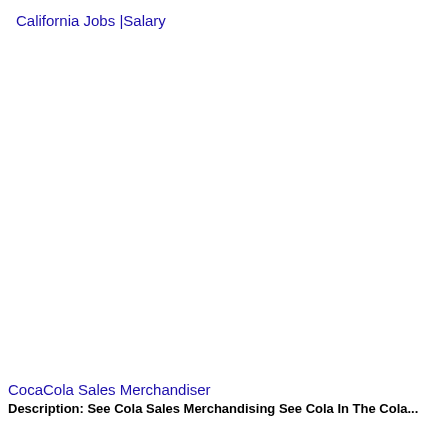California Jobs |Salary
CocaCola Sales Merchandiser
Description: See Cola Sales Merchandising See Cola In The Cola...